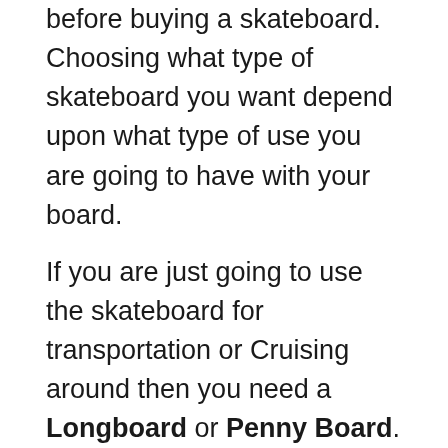before buying a skateboard. Choosing what type of skateboard you want depend upon what type of use you are going to have with your board.
If you are just going to use the skateboard for transportation or Cruising around then you need a Longboard or Penny Board. Penny boards are smaller in size size, which can be fitted in your back-pack but it is less maneuverable as it is small in Size. Where as Long boards are Larger in Size and more Stable, but if you want to carry it to your college or any other place you may not like